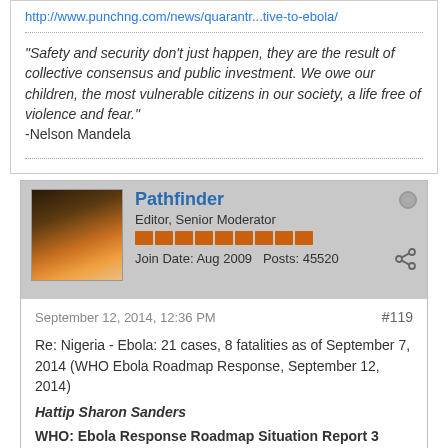http://www.punchng.com/news/quarantr...tive-to-ebola/
"Safety and security don't just happen, they are the result of collective consensus and public investment. We owe our children, the most vulnerable citizens in our society, a life free of violence and fear."
-Nelson Mandela
Pathfinder
Editor, Senior Moderator
Join Date: Aug 2009  Posts: 45520
September 12, 2014, 12:36 PM
#119
Re: Nigeria - Ebola: 21 cases, 8 fatalities as of September 7, 2014 (WHO Ebola Roadmap Response, September 12, 2014)
Hattip Sharon Sanders
WHO: Ebola Response Roadmap Situation Report 3
12 September 2014
...
OVERVIEW